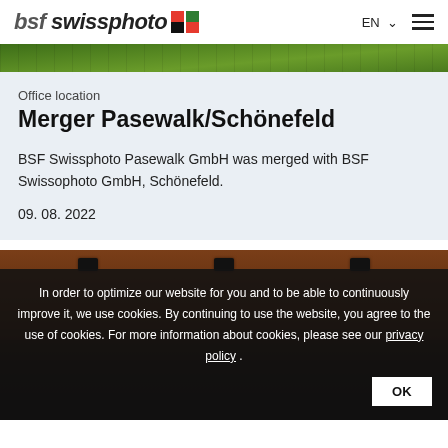bsf swissphoto | EN | menu
[Figure (photo): Green grass / aerial photo strip at top]
Office location
Merger Pasewalk/Schönefeld
BSF Swissphoto Pasewalk GmbH was merged with BSF Swissophoto GmbH, Schönefeld.
09. 08. 2022
[Figure (photo): Dark interior photo showing camera mounts on a warm brown surface]
In order to optimize our website for you and to be able to continuously improve it, we use cookies. By continuing to use the website, you agree to the use of cookies. For more information about cookies, please see our privacy policy .